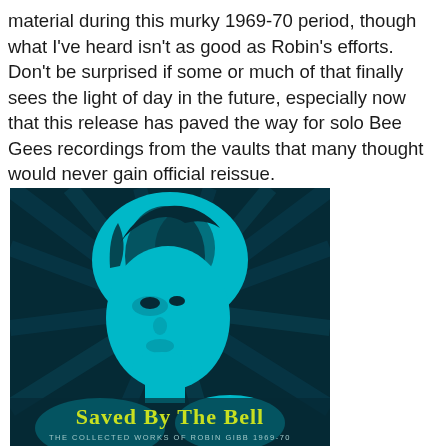material during this murky 1969-70 period, though what I've heard isn't as good as Robin's efforts. Don't be surprised if some or much of that finally sees the light of day in the future, especially now that this release has paved the way for solo Bee Gees recordings from the vaults that many thought would never gain official reissue.
[Figure (photo): Album cover for 'Saved By The Bell: The Collected Works of Robin Gibb 1969-70'. Dark teal/navy background with radiating rays. Stylized cyan/teal pop-art portrait of Robin Gibb facing slightly left. Bold yellow-green retro text at the bottom reads 'Saved By The Bell' with smaller subtitle text 'THE COLLECTED WORKS OF ROBIN GIBB 1969-70'.]